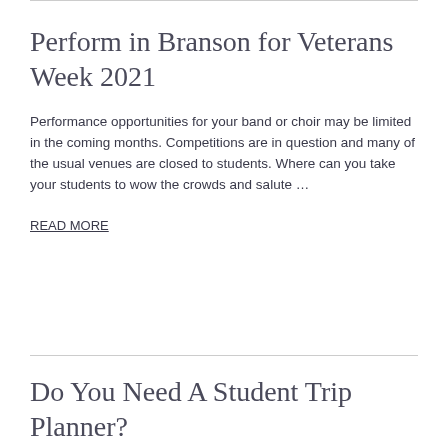Perform in Branson for Veterans Week 2021
Performance opportunities for your band or choir may be limited in the coming months.  Competitions are in question and many of the usual venues are closed to students.  Where can you take your students to wow the crowds and salute …
READ MORE
Do You Need A Student Trip Planner?
This blog has been updated from June 2020 The student trip is in your hands. You want it to be the